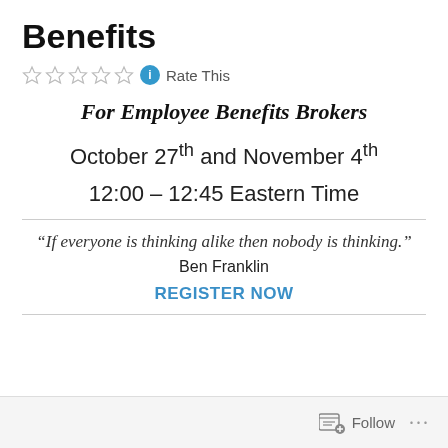Benefits
☆☆☆☆☆ ℹ Rate This
For Employee Benefits Brokers
October 27th and November 4th
12:00 – 12:45 Eastern Time
“If everyone is thinking alike then nobody is thinking.”
Ben Franklin
REGISTER NOW
Follow ...